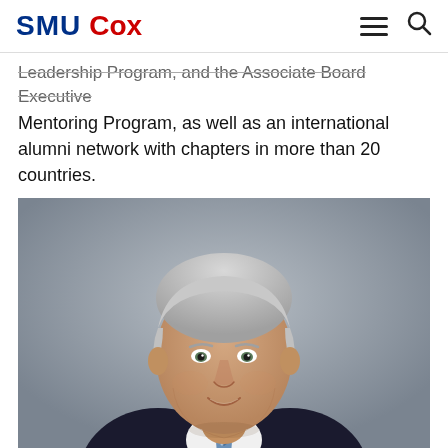SMU Cox
Leadership Program, and the Associate Board Executive Mentoring Program, as well as an international alumni network with chapters in more than 20 countries.
[Figure (photo): Professional headshot of a senior man with white/gray hair, wearing a dark suit and blue patterned tie, smiling, against a gray background.]